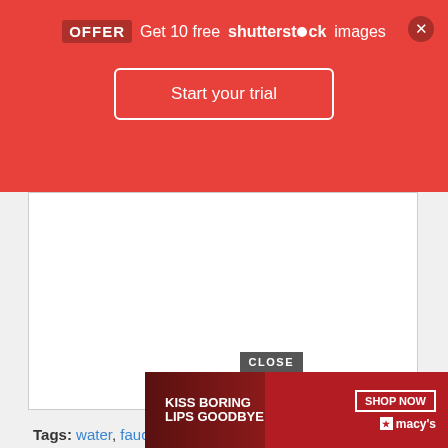OFFER Get 10 free shutterstock images
Start your trial
[Figure (other): White blank image area placeholder]
Tags: water, faucet
All rights to paintings and other images found on PaintingValley.com are owned by their respective owners (authors, artists, etc.) If you believe that any content found on this site doesn't qualify for fair use trials
[Figure (photo): Macy's ad banner showing a woman with red lips. Text: KISS BORING LIPS GOODBYE with SHOP NOW button and Macy's star logo]